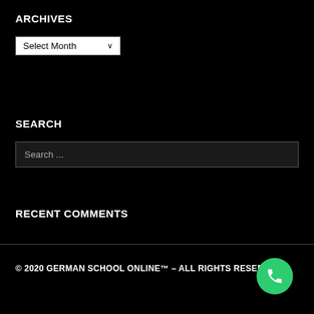ARCHIVES
Select Month
SEARCH
Search ...
RECENT COMMENTS
© 2020 GERMAN SCHOOL ONLINE™ – ALL RIGHTS RESERVED